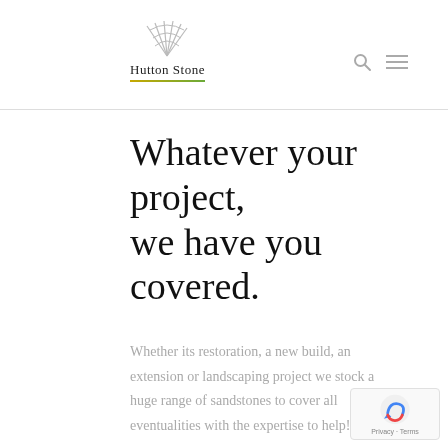Hutton Stone
Whatever your project, we have you covered.
Whether its restoration, a new build, an extension or landscaping project we stock a huge range of sandstones to cover all eventualities with the expertise to help!